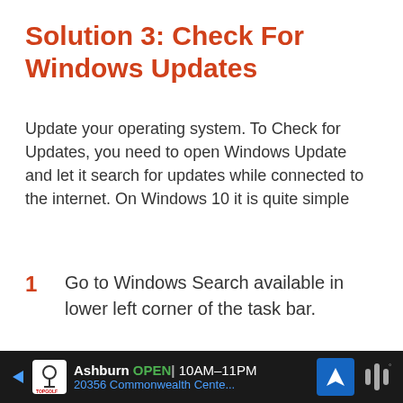Solution 3: Check For Windows Updates
Update your operating system. To Check for Updates, you need to open Windows Update and let it search for updates while connected to the internet. On Windows 10 it is quite simple
1  Go to Windows Search available in lower left corner of the task bar.
2  Type “Check for Updates”
3  Press the “Check for Updates” option
Ashburn  OPEN  10AM–11PM  20356 Commonwealth Cente...